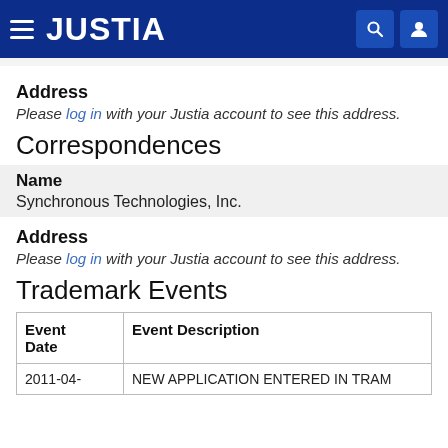JUSTIA
Address
Please log in with your Justia account to see this address.
Correspondences
Name
Synchronous Technologies, Inc.
Address
Please log in with your Justia account to see this address.
Trademark Events
| Event Date | Event Description |
| --- | --- |
| 2011-04- | NEW APPLICATION ENTERED IN TRAM |